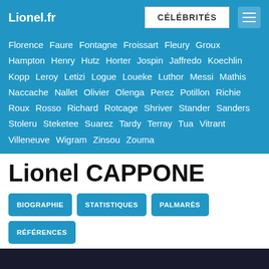Lionel.fr | CÉLÉBRITÉS
Florence Faure Fontagne Froissart Fleury Groux Hampton Henry Hutz Horter Jospin Jaffredo Koechlin Kopp Leroy Letizi Logue Loueke Luthor Messi Mathis Naccache Nallet Olivier Olenga Perez Potillon Richie Roux Rosso Richard Rotcage Shriver Stander Sanders Stoleru Steketee Suarez Tardy Terray Tua Vitrant Villeneuve Wigram Zinsou Zouma
Lionel CAPPONE
BIOGRAPHIE
STATISTIQUES
PALMARÈS
RÉFÉRENCES
2004
[Figure (screenshot): Bottom bar with dark background, partial screenshot visible]